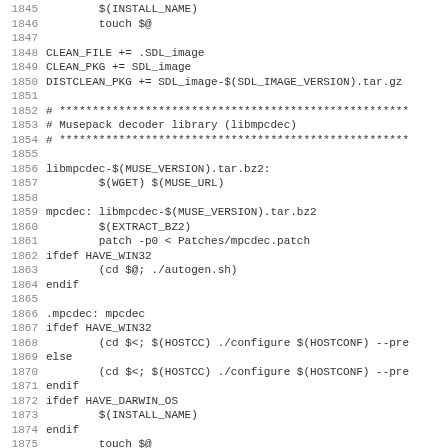Makefile source code lines 1845-1876
1845		$(INSTALL_NAME)
1846		touch $@
1847
1848 CLEAN_FILE += .SDL_image
1849 CLEAN_PKG += SDL_image
1850 DISTCLEAN_PKG += SDL_image-$(SDL_IMAGE_VERSION).tar.gz
1851
1852 # ****
1853 # Musepack decoder library (libmpcdec)
1854 # ****
1855
1856 libmpcdec-$(MUSE_VERSION).tar.bz2:
1857	$(WGET) $(MUSE_URL)
1858
1859 mpcdec: libmpcdec-$(MUSE_VERSION).tar.bz2
1860	$(EXTRACT_BZ2)
1861	patch -p0 < Patches/mpcdec.patch
1862 ifdef HAVE_WIN32
1863	(cd $@; ./autogen.sh)
1864 endif
1865
1866 .mpcdec: mpcdec
1867 ifdef HAVE_WIN32
1868	(cd $<; $(HOSTCC) ./configure $(HOSTCONF) --pre
1869 else
1870	(cd $<; $(HOSTCC) ./configure $(HOSTCONF) --pre
1871 endif
1872 ifdef HAVE_DARWIN_OS
1873	$(INSTALL_NAME)
1874 endif
1875	touch $@
1876